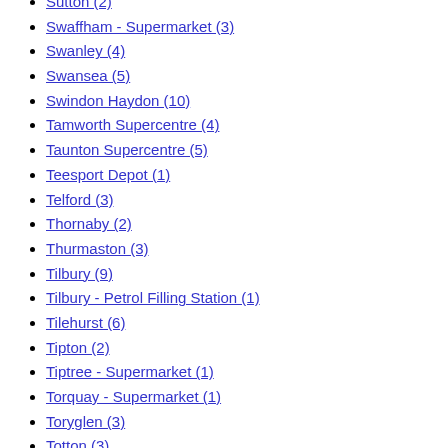Sutton (2)
Swaffham - Supermarket (3)
Swanley (4)
Swansea (5)
Swindon Haydon (10)
Tamworth Supercentre (4)
Taunton Supercentre (5)
Teesport Depot (1)
Telford (3)
Thornaby (2)
Thurmaston (3)
Tilbury (9)
Tilbury - Petrol Filling Station (1)
Tilehurst (6)
Tipton (2)
Tiptree - Supermarket (1)
Torquay - Supermarket (1)
Toryglen (3)
Totton (3)
Trafford Park Supercentre (5)
Trowbridge (5)
Tunbridge Wells (11)
Tunstall (6)
Tweedmouth - Supermarket (2)
Twickenham - Supermarket (1)
Wakefield (6)